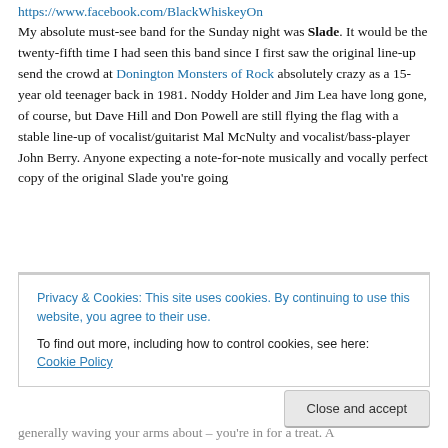https://www.facebook.com/BlackWhiskeyOn
My absolute must-see band for the Sunday night was Slade. It would be the twenty-fifth time I had seen this band since I first saw the original line-up send the crowd at Donington Monsters of Rock absolutely crazy as a 15-year old teenager back in 1981. Noddy Holder and Jim Lea have long gone, of course, but Dave Hill and Don Powell are still flying the flag with a stable line-up of vocalist/guitarist Mal McNulty and vocalist/bass-player John Berry. Anyone expecting a note-for-note musically and vocally perfect copy of the original Slade you're going
Privacy & Cookies: This site uses cookies. By continuing to use this website, you agree to their use.
To find out more, including how to control cookies, see here: Cookie Policy
Close and accept
generally waving your arms about – you're in for a treat. A